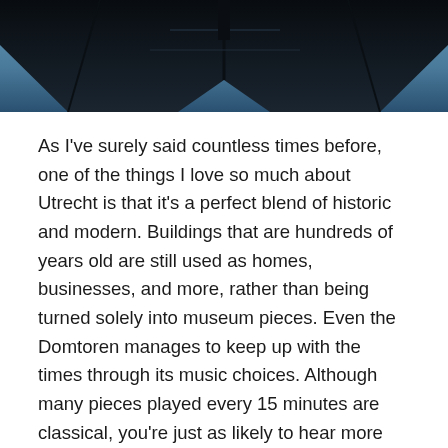[Figure (photo): Photograph of a dark architectural structure, likely the Domtoren tower in Utrecht, showing dark roof/spire elements against a blue sky, cropped to show the upper portion only.]
As I've surely said countless times before, one of the things I love so much about Utrecht is that it's a perfect blend of historic and modern. Buildings that are hundreds of years old are still used as homes, businesses, and more, rather than being turned solely into museum pieces. Even the Domtoren manages to keep up with the times through its music choices. Although many pieces played every 15 minutes are classical, you're just as likely to hear more modern songs, from Toto to Lady Gaga.
The various bells throughout town become background noise on a daily basis, but every once in a while, especially during some of the midday Domtoren concerts, a certain song will jump out at you. As I was working today,